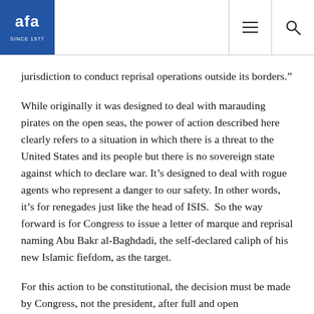AFA logo, navigation menu icon, search icon
jurisdiction to conduct reprisal operations outside its borders.”
While originally it was designed to deal with marauding pirates on the open seas, the power of action described here clearly refers to a situation in which there is a threat to the United States and its people but there is no sovereign state against which to declare war. It’s designed to deal with rogue agents who represent a danger to our safety. In other words, it’s for renegades just like the head of ISIS.  So the way forward is for Congress to issue a letter of marque and reprisal naming Abu Bakr al-Baghdadi, the self-declared caliph of his new Islamic fiefdom, as the target.
For this action to be constitutional, the decision must be made by Congress, not the president, after full and open